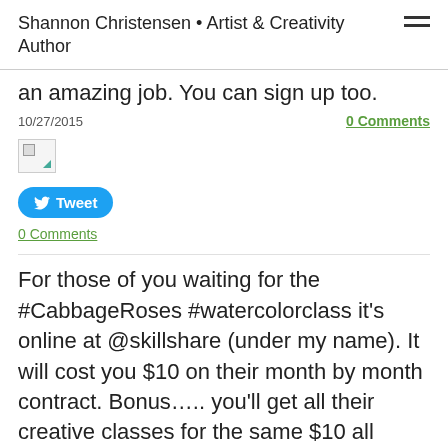Shannon Christensen • Artist & Creativity Author
an amazing job. You can sign up too.
10/27/2015
0 Comments
[Figure (photo): Broken image placeholder]
Tweet
0 Comments
For those of you waiting for the #CabbageRoses #watercolorclass it's online at @skillshare (under my name). It will cost you $10 on their month by month contract. Bonus….. you'll get all their creative classes for the same $10 all month